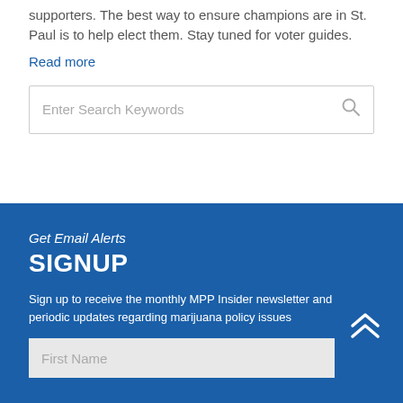supporters. The best way to ensure champions are in St. Paul is to help elect them. Stay tuned for voter guides.
Read more
[Figure (screenshot): Search box with placeholder text 'Enter Search Keywords' and a search icon on the right]
Get Email Alerts
SIGNUP
Sign up to receive the monthly MPP Insider newsletter and periodic updates regarding marijuana policy issues
[Figure (other): First Name input field (white/light background)]